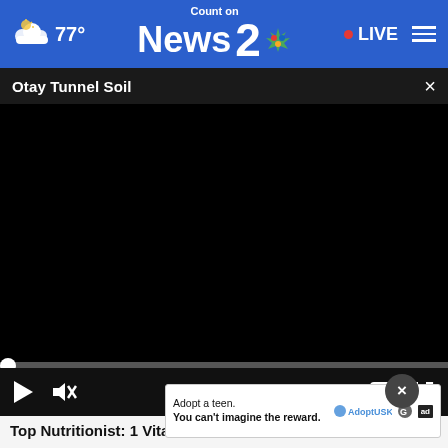77° | Count on News 2 NBC | LIVE
Otay Tunnel Soil
[Figure (screenshot): Black video player area, paused at 00:00]
Top Nutritionist: 1 Vitamin You Need for Clear Skin
Dr. Ke...
Adopt a teen. You can't imagine the reward.